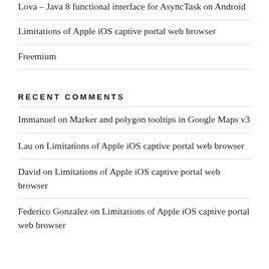Lova – Java 8 functional interface for AsyncTask on Android
Limitations of Apple iOS captive portal web browser
Freemium
RECENT COMMENTS
Immanuel on Marker and polygon tooltips in Google Maps v3
Lau on Limitations of Apple iOS captive portal web browser
David on Limitations of Apple iOS captive portal web browser
Federico Gonzalez on Limitations of Apple iOS captive portal web browser